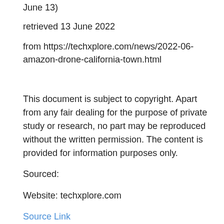June 13)
retrieved 13 June 2022
from https://techxplore.com/news/2022-06-amazon-drone-california-town.html
This document is subject to copyright. Apart from any fair dealing for the purpose of private study or research, no part may be reproduced without the written permission. The content is provided for information purposes only.
Sourced:
Website: techxplore.com
Source Link